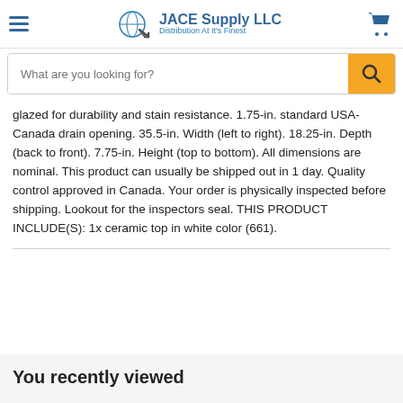JACE Supply LLC — Distribution At It's Finest
glazed for durability and stain resistance. 1.75-in. standard USA-Canada drain opening. 35.5-in. Width (left to right). 18.25-in. Depth (back to front). 7.75-in. Height (top to bottom). All dimensions are nominal. This product can usually be shipped out in 1 day. Quality control approved in Canada. Your order is physically inspected before shipping. Lookout for the inspectors seal. THIS PRODUCT INCLUDE(S): 1x ceramic top in white color (661).
You recently viewed